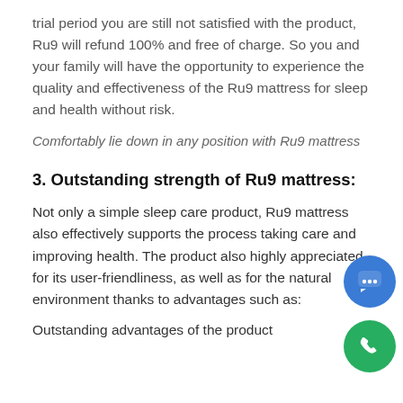trial period you are still not satisfied with the product, Ru9 will refund 100% and free of charge. So you and your family will have the opportunity to experience the quality and effectiveness of the Ru9 mattress for sleep and health without risk.
Comfortably lie down in any position with Ru9 mattress
3. Outstanding strength of Ru9 mattress:
Not only a simple sleep care product, Ru9 mattress also effectively supports the process taking care and improving health. The product also highly appreciated for its user-friendliness, as well as for the natural environment thanks to advantages such as:
Outstanding advantages of the product